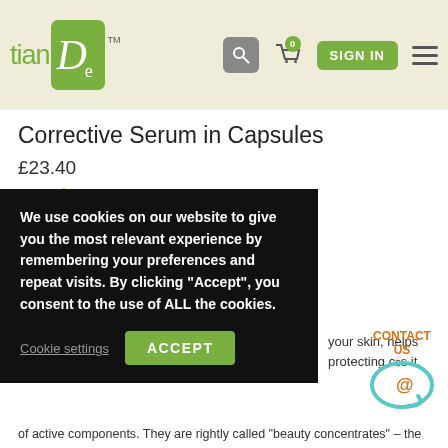tianDe TM
Corrective Serum in Capsules
£23.40
In stock
[Figure (screenshot): Quantity input box with value 1 and Add to basket green button]
We use cookies on our website to give you the most relevant experience by remembering your preferences and repeat visits. By clicking "Accept", you consent to the use of ALL the cookies.
Cookie settings
ACCEPT
[Figure (infographic): Contact Us widget with orange text and teal arrow icon with @ symbol]
your skin, helps protecting c s it.
of active components. They are rightly called "beauty concentrates" – the